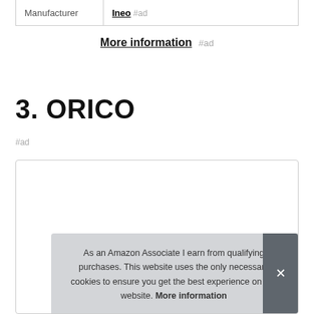| Manufacturer | Value |
| --- | --- |
| Manufacturer | Ineo #ad |
More information #ad
3. ORICO
#ad
As an Amazon Associate I earn from qualifying purchases. This website uses the only necessary cookies to ensure you get the best experience on our website. More information